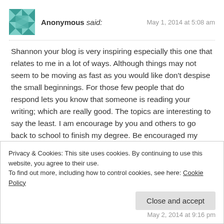Anonymous said:   May 1, 2014 at 5:08 am
Shannon your blog is very inspiring especially this one that relates to me in a lot of ways. Although things may not seem to be moving as fast as you would like don't despise the small beginnings. For those few people that do respond lets you know that someone is reading your writing; which are really good. The topics are interesting to say the least. I am encourage by you and others to go back to school to finish my degree. Be encouraged my sister, know that you are an encouragement to me and countless others. Keep doing what you're doing it will pay off.
Privacy & Cookies: This site uses cookies. By continuing to use this website, you agree to their use.
To find out more, including how to control cookies, see here: Cookie Policy
Close and accept
May 2, 2014 at 9:16 pm